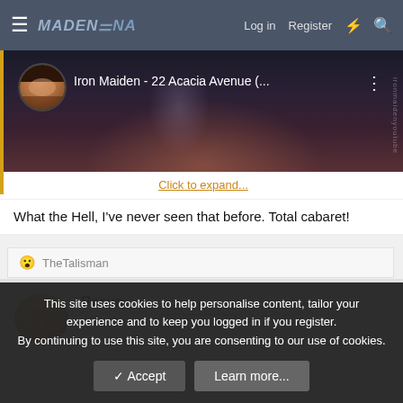MaidenFans — Log in  Register
[Figure (screenshot): YouTube video embed showing Iron Maiden - 22 Acacia Avenue with a circular avatar of a man with long hair on the left and a concert background]
Click to expand...
What the Hell, I've never seen that before. Total cabaret!
😮 TheTalisman
Perun
After the war?  Staff member
This site uses cookies to help personalise content, tailor your experience and to keep you logged in if you register.
By continuing to use this site, you are consenting to our use of cookies.